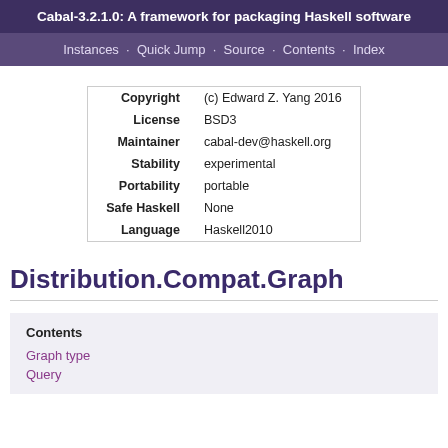Cabal-3.2.1.0: A framework for packaging Haskell software
Instances · Quick Jump · Source · Contents · Index
| Key | Value |
| --- | --- |
| Copyright | (c) Edward Z. Yang 2016 |
| License | BSD3 |
| Maintainer | cabal-dev@haskell.org |
| Stability | experimental |
| Portability | portable |
| Safe Haskell | None |
| Language | Haskell2010 |
Distribution.Compat.Graph
Contents
Graph type
Query